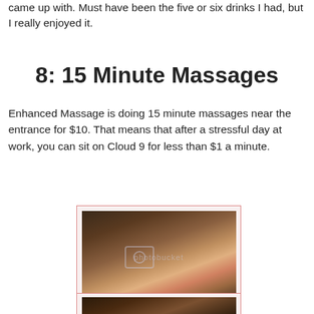came up with. Must have been the five or six drinks I had, but I really enjoyed it.
8: 15 Minute Massages
Enhanced Massage is doing 15 minute massages near the entrance for $10. That means that after a stressful day at work, you can sit on Cloud 9 for less than $1 a minute.
[Figure (photo): Photo of a massage therapist giving a seated massage to a client at what appears to be an event or expo. The therapist, a heavyset man wearing glasses, is working on the client's back/shoulders. A Photobucket watermark is visible on the image.]
[Figure (photo): Partial photo at bottom of page showing people at what appears to be the same event, partially cropped.]